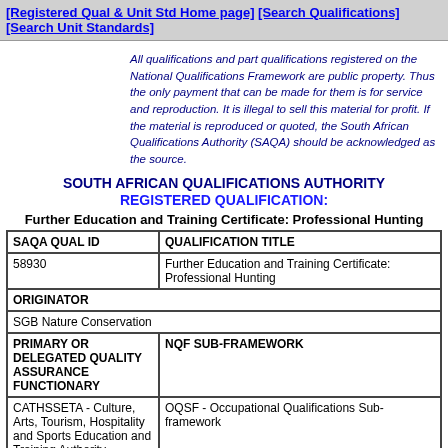[Registered Qual & Unit Std Home page] [Search Qualifications] [Search Unit Standards]
All qualifications and part qualifications registered on the National Qualifications Framework are public property. Thus the only payment that can be made for them is for service and reproduction. It is illegal to sell this material for profit. If the material is reproduced or quoted, the South African Qualifications Authority (SAQA) should be acknowledged as the source.
SOUTH AFRICAN QUALIFICATIONS AUTHORITY
REGISTERED QUALIFICATION:
Further Education and Training Certificate: Professional Hunting
| SAQA QUAL ID | QUALIFICATION TITLE |
| --- | --- |
| 58930 | Further Education and Training Certificate: Professional Hunting |
| ORIGINATOR |  |
| SGB Nature Conservation |  |
| PRIMARY OR DELEGATED QUALITY ASSURANCE FUNCTIONARY | NQF SUB-FRAMEWORK |
| CATHSSETA - Culture, Arts, Tourism, Hospitality and Sports Education and Training Authority | OQSF - Occupational Qualifications Sub-framework |
| QUALIFICATION | FIELD | SUBFIELD |